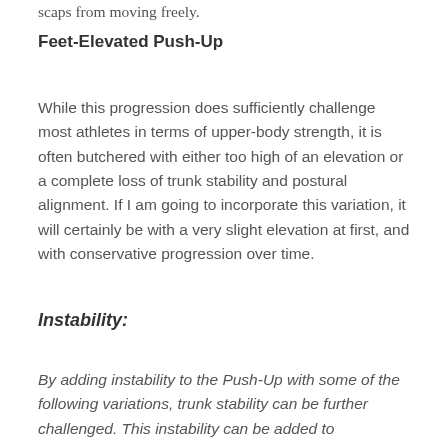scaps from moving freely.
Feet-Elevated Push-Up
While this progression does sufficiently challenge most athletes in terms of upper-body strength, it is often butchered with either too high of an elevation or a complete loss of trunk stability and postural alignment. If I am going to incorporate this variation, it will certainly be with a very slight elevation at first, and with conservative progression over time.
Instability:
By adding instability to the Push-Up with some of the following variations, trunk stability can be further challenged. This instability can be added to